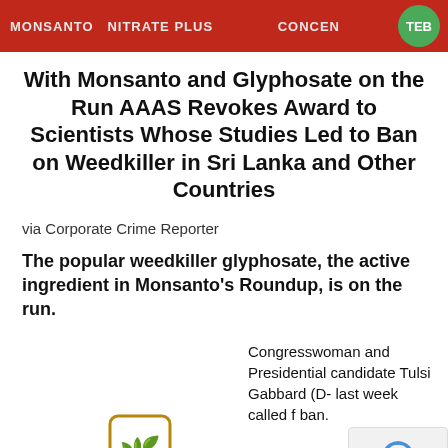[Figure (photo): Red Monsanto product banner with 'MONSANTO' text and green badge labeled 'TEB' on the right side]
With Monsanto and Glyphosate on the Run AAAS Revokes Award to Scientists Whose Studies Led to Ban on Weedkiller in Sri Lanka and Other Countries
via Corporate Crime Reporter
The popular weedkiller glyphosate, the active ingredient in Monsanto's Roundup, is on the run.
Congresswoman and Presidential candidate Tulsi Gabbard (D- last week called f ban.
[Figure (logo): Small green Monsanto plant/wheat logo icon]
[Figure (other): Google reCAPTCHA privacy badge with blue arrow icon and Privacy - Terms text]